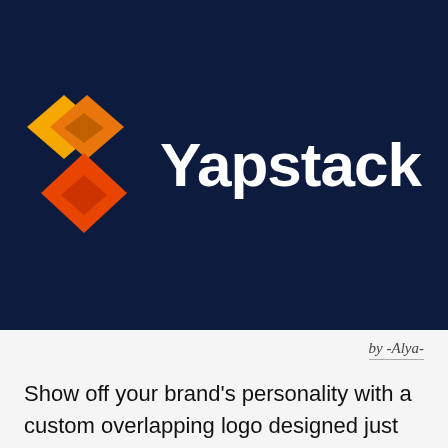[Figure (logo): Yapstack logo: geometric overlapping diamond/heart shape icon in orange and yellow tones on dark navy background, with white sans-serif text 'Yapstack' to the right]
by -Alya-
Show off your brand's personality with a custom overlapping logo designed just for you by a professional designer. Need ideas? We've collected